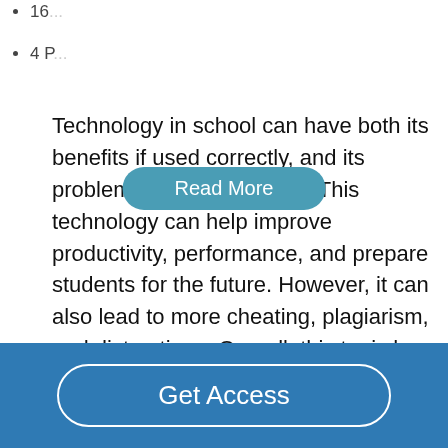16...
4 P...
Technology in school can have both its benefits if used correctly, and its problems if use incorrectly. This technology can help improve productivity, performance, and prepare students for the future. However, it can also lead to more cheating, plagiarism, and distractions. Overall, this topic has logical arguments from both sides and does not have a correct answer and with my experience and research, I will be able to talk about both sides in depth. Is Technology in the Classroom Helping or Hindering Learning?...
Read More
Get Access